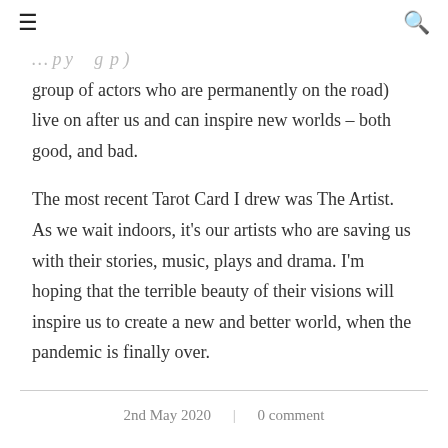≡  🔍
group of actors who are permanently on the road) live on after us and can inspire new worlds – both good, and bad.
The most recent Tarot Card I drew was The Artist. As we wait indoors, it's our artists who are saving us with their stories, music, plays and drama. I'm hoping that the terrible beauty of their visions will inspire us to create a new and better world, when the pandemic is finally over.
2nd May 2020  |  0 comment